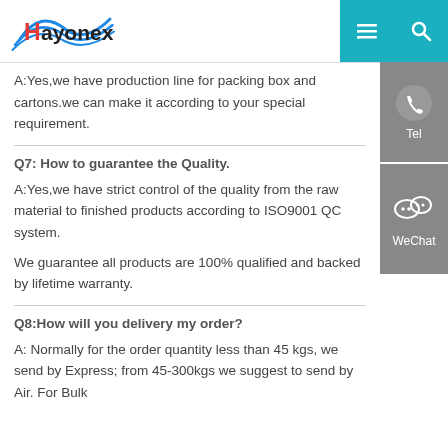Hayonex
A:Yes,we have production line for packing box and cartons.we can make it according to your special requirement.
Q7: How to guarantee the Quality.
A:Yes,we have strict control of the quality from the raw material to finished products according to ISO9001 QC system.
We guarantee all products are 100% qualified and backed by lifetime warranty.
Q8:How will you delivery my order?
A: Normally for the order quantity less than 45 kgs, we send by Express; from 45-300kgs we suggest to send by Air. For Bulk…